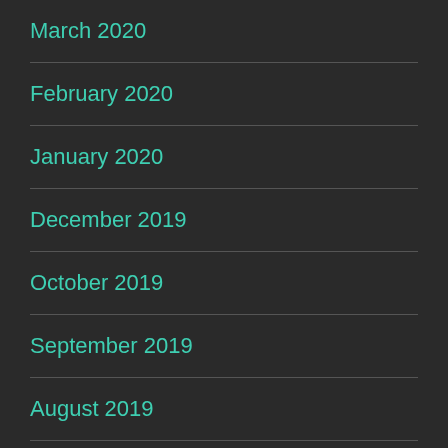March 2020
February 2020
January 2020
December 2019
October 2019
September 2019
August 2019
July 2019
June 2019